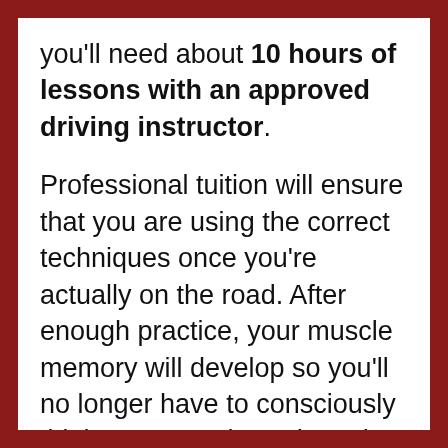you'll need about 10 hours of lessons with an approved driving instructor. Professional tuition will ensure that you are using the correct techniques once you're actually on the road. After enough practice, your muscle memory will develop so you'll no longer have to consciously think your way through each step of these routines. At this point you'll then be ready to move on to the Level 2 guide, which covers the rules of the road. Don't forget you can also take